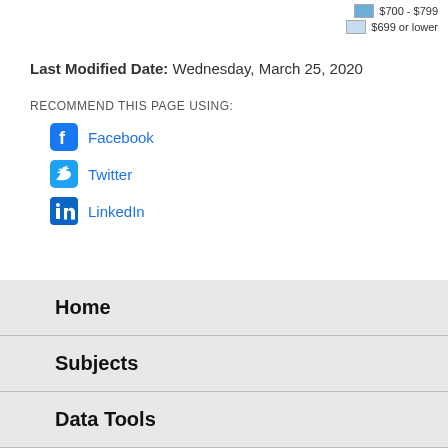[Figure (other): Legend showing two color swatches: a medium blue for a price range (partially cut off, appears to be $700-$799) and a light blue for '$699 or lower']
Last Modified Date: Wednesday, March 25, 2020
RECOMMEND THIS PAGE USING:
Facebook
Twitter
LinkedIn
Home
Subjects
Data Tools